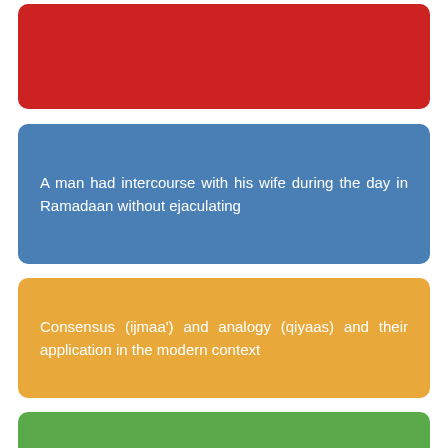[Figure (other): Red rounded rectangle card (partial, top of page)]
A man had intercourse with his wife during the day in Ramadaan without ejaculating
Consensus (ijmaa') and analogy (qiyaas) and their application in the modern context
Is the fast broken if a person thinks about breaking it or wishes that he was not fasting?